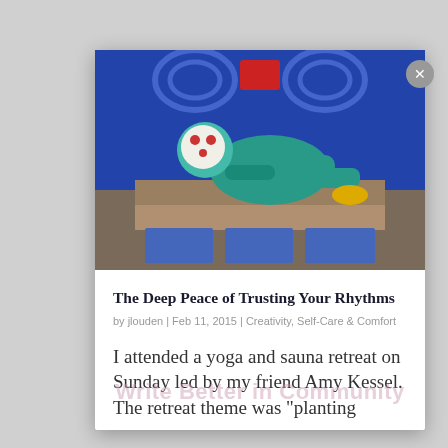[Figure (photo): A teal/turquoise ceramic or painted figurine of a reclining person with a white face, lying on a ledge or platform with blue tile decorations in the background]
The Deep Peace of Trusting Your Rhythms
by jlouden | Feb 11, 2015 | Creativity, Self-Care & Comfort
I attended a yoga and sauna retreat on Sunday led by my friend Amy Kessel. The retreat theme was "planting